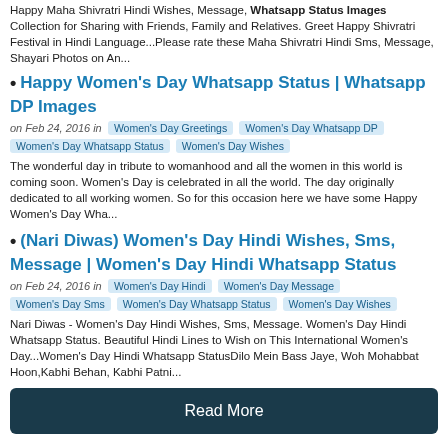Happy Maha Shivratri Hindi Wishes, Message, Whatsapp Status Images Collection for Sharing with Friends, Family and Relatives. Greet Happy Shivratri Festival in Hindi Language...Please rate these Maha Shivratri Hindi Sms, Message, Shayari Photos on An...
Happy Women's Day Whatsapp Status | Whatsapp DP Images
on Feb 24, 2016 in  Women's Day Greetings  Women's Day Whatsapp DP  Women's Day Whatsapp Status  Women's Day Wishes
The wonderful day in tribute to womanhood and all the women in this world is coming soon. Women's Day is celebrated in all the world. The day originally dedicated to all working women. So for this occasion here we have some Happy Women's Day Wha...
(Nari Diwas) Women's Day Hindi Wishes, Sms, Message | Women's Day Hindi Whatsapp Status
on Feb 24, 2016 in  Women's Day Hindi  Women's Day Message  Women's Day Sms  Women's Day Whatsapp Status  Women's Day Wishes
Nari Diwas - Women's Day Hindi Wishes, Sms, Message. Women's Day Hindi Whatsapp Status. Beautiful Hindi Lines to Wish on This International Women's Day...Women's Day Hindi Whatsapp StatusDilo Mein Bass Jaye, Woh Mohabbat Hoon,Kabhi Behan, Kabhi Patni...
Read More